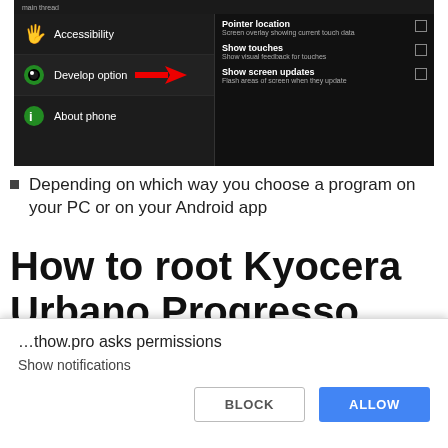[Figure (screenshot): Android settings screenshot showing left panel with Accessibility, Develop option (highlighted with red arrow), About phone menu items, and right panel showing Pointer location, Show touches, Show screen updates options]
Depending on which way you choose a program on your PC or on your Android app
How to root Kyocera Urbano Progresso
We use Rootkhp Pro
…thow.pro asks permissions
Show notifications
BLOCK   ALLOW